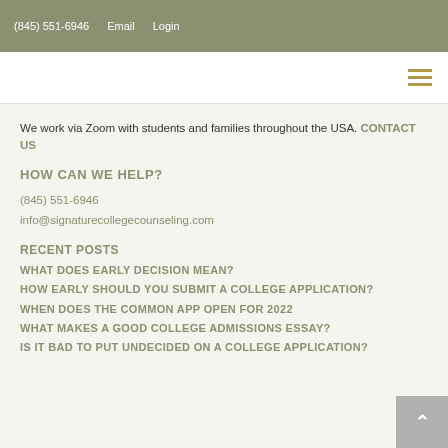(845) 551-6946   Email   Login
We work via Zoom with students and families throughout the USA. CONTACT US
HOW CAN WE HELP?
(845) 551-6946
info@signaturecollegecounseling.com
RECENT POSTS
WHAT DOES EARLY DECISION MEAN?
HOW EARLY SHOULD YOU SUBMIT A COLLEGE APPLICATION?
WHEN DOES THE COMMON APP OPEN FOR 2022
WHAT MAKES A GOOD COLLEGE ADMISSIONS ESSAY?
IS IT BAD TO PUT UNDECIDED ON A COLLEGE APPLICATION?